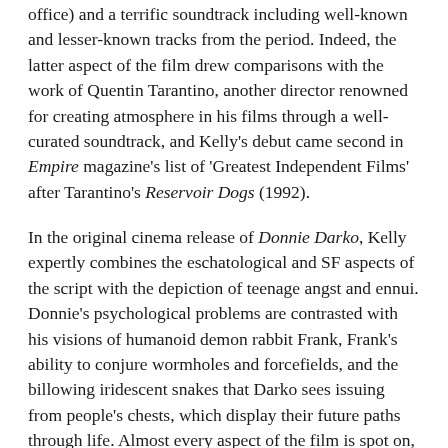office) and a terrific soundtrack including well-known and lesser-known tracks from the period. Indeed, the latter aspect of the film drew comparisons with the work of Quentin Tarantino, another director renowned for creating atmosphere in his films through a well-curated soundtrack, and Kelly's debut came second in Empire magazine's list of 'Greatest Independent Films' after Tarantino's Reservoir Dogs (1992).
In the original cinema release of Donnie Darko, Kelly expertly combines the eschatological and SF aspects of the script with the depiction of teenage angst and ennui. Donnie's psychological problems are contrasted with his visions of humanoid demon rabbit Frank, Frank's ability to conjure wormholes and forcefields, and the billowing iridescent snakes that Darko sees issuing from people's chests, which display their future paths through life. Almost every aspect of the film is spot on, from the terrific casting of Jake Gyllenhaal as the lead, his real-life sister Maggie as his fictional sister on screen (a sibling double act to rival John and Joan Cusack), to the